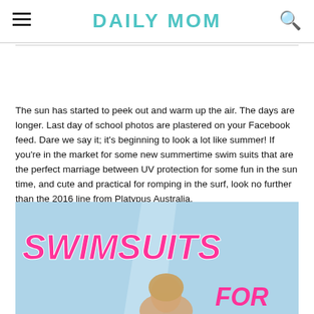DAILY MOM
The sun has started to peek out and warm up the air. The days are longer. Last day of school photos are plastered on your Facebook feed. Dare we say it; it's beginning to look a lot like summer! If you're in the market for some new summertime swim suits that are the perfect marriage between UV protection for some fun in the sun time, and cute and practical for romping in the surf, look no further than the 2016 line from Platypus Australia.
[Figure (photo): Promotional image with large pink italic bold text reading SWIMSUITS FOR on a light blue background with a partial photo of a person.]